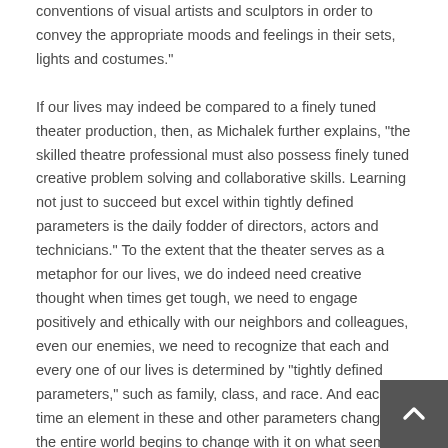conventions of visual artists and sculptors in order to convey the appropriate moods and feelings in their sets, lights and costumes."

If our lives may indeed be compared to a finely tuned theater production, then, as Michalek further explains, “the skilled theatre professional must also possess finely tuned creative problem solving and collaborative skills. Learning not just to succeed but excel within tightly defined parameters is the daily fodder of directors, actors and technicians.” To the extent that the theater serves as a metaphor for our lives, we do indeed need creative thought when times get tough, we need to engage positively and ethically with our neighbors and colleagues, even our enemies, we need to recognize that each and every one of our lives is determined by “tightly defined parameters,” such as family, class, and race. And each time an element in these and other parameters change, the entire world begins to change with it on what seems like an ever-moving stage of events. Were we to remove one of the above ingredients, say our ability to place life into context or talk about who we are, our ability to show what we do and what we stand for, then our play may be reduced to awkward pauses, silences, and absences. For us to remain on the world stage, retain an audience that witnesses our life’s